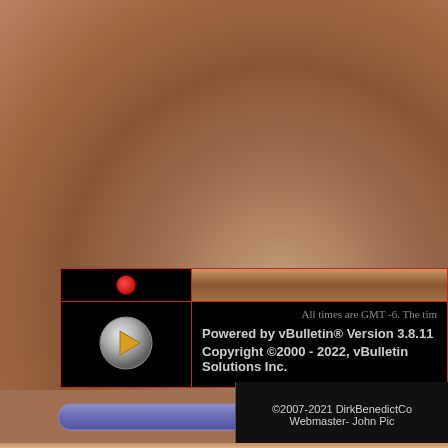very often they are precipitated but result in a life-changing real revelation.
It's also very true that we tend to mistakes than we do from our s
I should know. I'm the poster ch Some of them have been real d
...
Posted in Uncategorized
All times are GMT -6. The tim
Powered by vBulletin® Version 3.8.11
Copyright ©2000 - 2022, vBulletin Solutions Inc.
©2007-2021 DirkBenedictCo Webmaster- John Pic